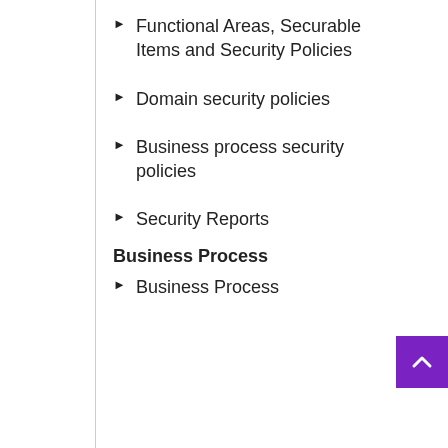Functional Areas, Securable Items and Security Policies
Domain security policies
Business process security policies
Security Reports
Business Process
Business Process